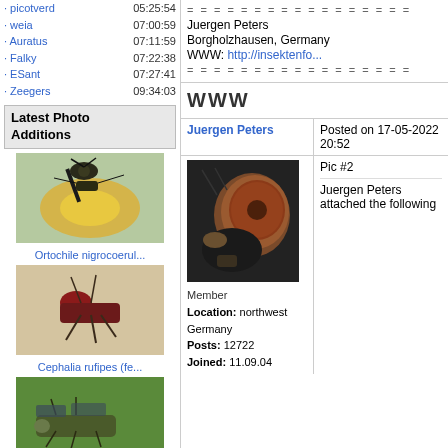· picotverd  05:25:54
· weia  07:00:59
· Auratus  07:11:59
· Falky  07:22:38
· ESant  07:27:41
· Zeegers  09:34:03
Latest Photo Additions
[Figure (photo): Ortochile nigrocoerul... - a fly on a yellow flower]
Ortochile nigrocoerul...
[Figure (photo): Cephalia rufipes (fe... - a red ant on sand]
Cephalia rufipes (fe...
[Figure (photo): Euthycera cribrata (... - a fly on a green leaf]
Euthycera cribrata (...
[Figure (photo): Partial photo of two insects with blue wings at bottom]
- - - - - - - - - - - - - - - - Juergen Peters Borgholzhausen, Germany WWW: http://insektenfo... - - - - - - - - - - - - - - - -
WWW
Juergen Peters
Posted on 17-05-2022 20:52
[Figure (photo): Close-up macro photo of a fly head showing large compound eye]
Member
Location: northwest Germany
Posts: 12722
Joined: 11.09.04
Pic #2
Juergen Peters attached the following